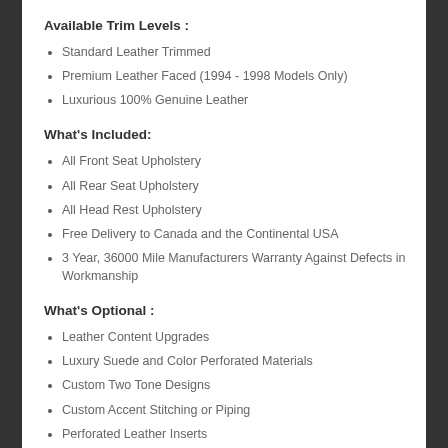Available Trim Levels :
Standard Leather Trimmed
Premium Leather Faced (1994 - 1998 Models Only)
Luxurious 100% Genuine Leather
What's Included:
All Front Seat Upholstery
All Rear Seat Upholstery
All Head Rest Upholstery
Free Delivery to Canada and the Continental USA
3 Year, 36000 Mile Manufacturers Warranty Against Defects in Workmanship
What's Optional :
Leather Content Upgrades
Luxury Suede and Color Perforated Materials
Custom Two Tone Designs
Custom Accent Stitching or Piping
Perforated Leather Inserts